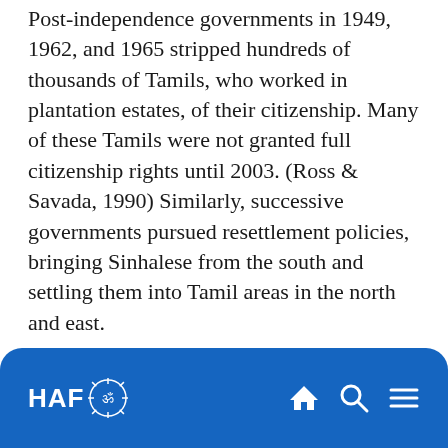Post-independence governments in 1949, 1962, and 1965 stripped hundreds of thousands of Tamils, who worked in plantation estates, of their citizenship. Many of these Tamils were not granted full citizenship rights until 2003. (Ross & Savada, 1990) Similarly, successive governments pursued resettlement policies, bringing Sinhalese from the south and settling them into Tamil areas in the north and east.
Sinhala-Buddhist nationalists came to dominate the government and implemented policies and laws that
HAF [logo] [home icon] [search icon] [menu icon]